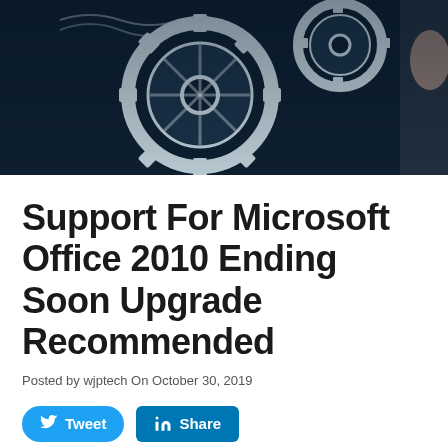[Figure (photo): Dark blue-tinted hero image showing mechanical gears/cogs with a person's hand visible on the right side]
Support For Microsoft Office 2010 Ending Soon Upgrade Recommended
Posted by wjptech On October 30, 2019
Tweet  Share